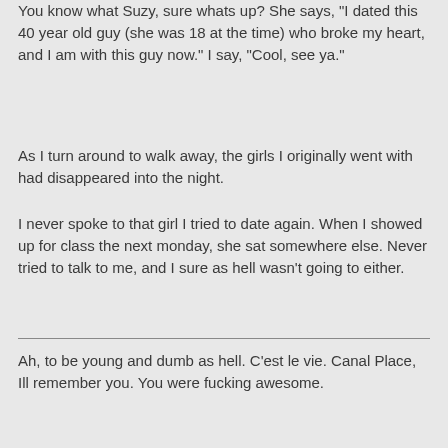You know what Suzy, sure whats up? She says, "I dated this 40 year old guy (she was 18 at the time) who broke my heart, and I am with this guy now." I say, "Cool, see ya."
As I turn around to walk away, the girls I originally went with had disappeared into the night.
I never spoke to that girl I tried to date again. When I showed up for class the next monday, she sat somewhere else. Never tried to talk to me, and I sure as hell wasn't going to either.
Ah, to be young and dumb as hell. C'est le vie. Canal Place, Ill remember you. You were fucking awesome.
[Figure (screenshot): YouTube video thumbnail showing Landmark Theatres Logo Tra... with Landmark Theatres circular logo on black background]